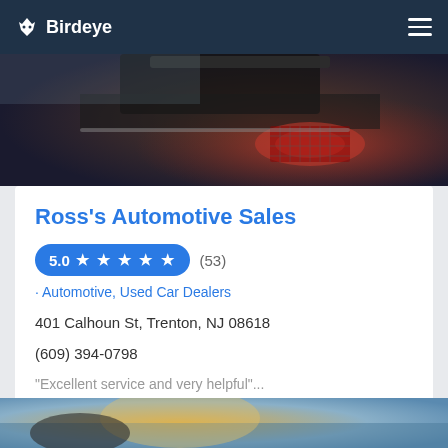Birdeye
[Figure (photo): Blurred photo of a car rear taillight with dark background]
Ross's Automotive Sales
5.0 ★ ★ ★ ★ ★ (53)
· Automotive, Used Car Dealers
401 Calhoun St, Trenton, NJ 08618
(609) 394-0798
"Excellent service and very helpful"...
CALL SALES
[Figure (photo): Blurred photo of a car exterior, warm tones]